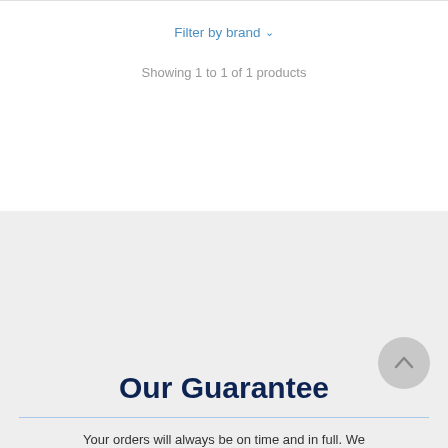Filter by brand ∨
Showing 1 to 1 of 1 products
Our Guarantee
Your orders will always be on time and in full. We